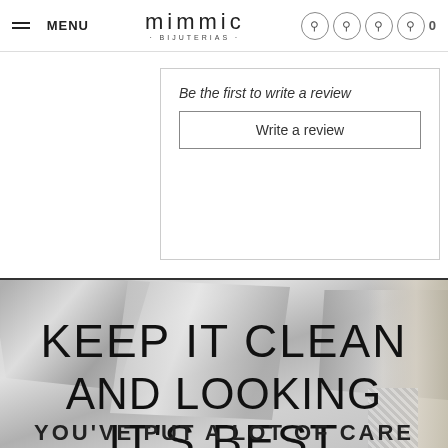MENU | mimmic BIJUTERIAS | [icons] 0
Be the first to write a review
Write a review
[Figure (photo): Greyscale photo of crumpled metallic foil/paper wrapping with a cleaning brush on the right side, used as banner background image.]
KEEP IT CLEAN AND LOOKING IT'S BEST
YOU'VE PUT A LOT OF CARE
This website uses cookies to ensure the best experience on our website. Learn more